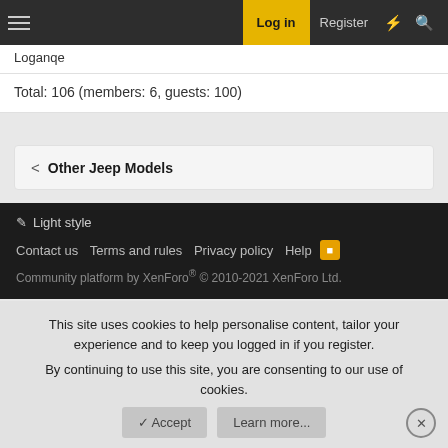Log in | Register
Loganqe
Total: 106 (members: 6, guests: 100)
< Other Jeep Models
Light style | Contact us | Terms and rules | Privacy policy | Help | RSS | Community platform by XenForo® © 2010-2021 XenForo Ltd.
This site uses cookies to help personalise content, tailor your experience and to keep you logged in if you register. By continuing to use this site, you are consenting to our use of cookies.
Accept | Learn more...